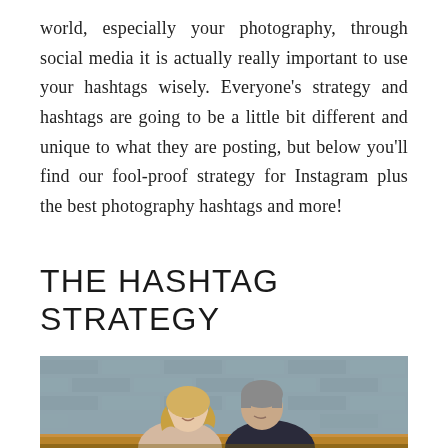world, especially your photography, through social media it is actually really important to use your hashtags wisely. Everyone's strategy and hashtags are going to be a little bit different and unique to what they are posting, but below you'll find our fool-proof strategy for Instagram plus the best photography hashtags and more!
THE HASHTAG STRATEGY
[Figure (photo): A man and woman sitting together in front of a grey brick wall, smiling at each other. There is a wooden bench or ledge visible. The woman has blonde hair and the man has grey hair and is wearing a dark shirt.]